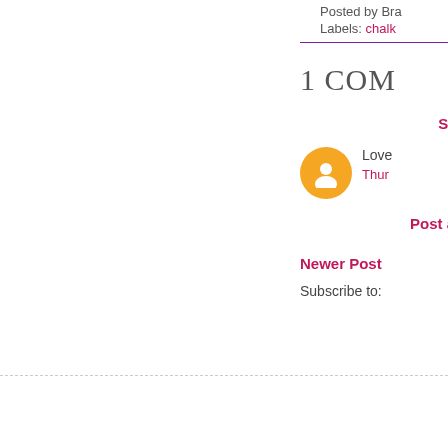Posted by Bra…
Labels: chalk…
1 COM…
Skip…
Love…
Thur…
Post a C…
Newer Post…
Subscribe to: